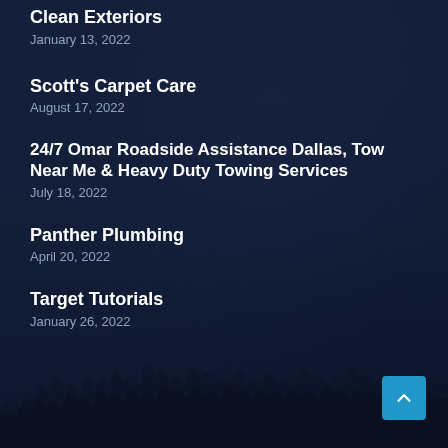Clean Exteriors
January 13, 2022
Scott's Carpet Care
August 17, 2022
24/7 Omar Roadside Assistance Dallas, Tow Near Me & Heavy Duty Towing Services
July 18, 2022
Panther Plumbing
April 20, 2022
Target Tutorials
January 26, 2022